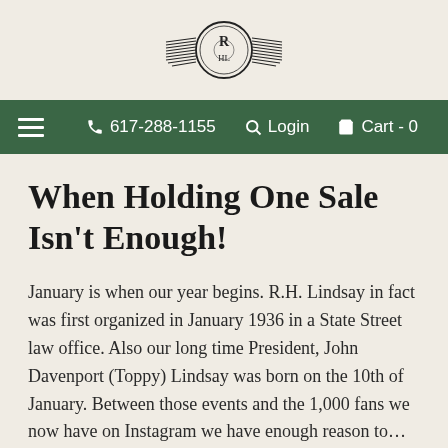[Figure (logo): Circular emblem/logo with decorative wings or horizontal lines on sides, containing an ornate letter or symbol in the center]
☰  617-288-1155  🔍 Login  🛒 Cart - 0
When Holding One Sale Isn't Enough!
January is when our year begins. R.H. Lindsay in fact was first organized in January 1936 in a State Street law office. Also our long time President, John Davenport (Toppy) Lindsay was born on the 10th of January. Between those events and the 1,000 fans we now have on Instagram we have enough reason to… Read More »